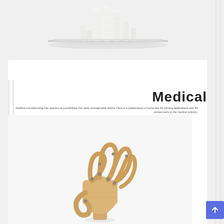[Figure (photo): White 3D printed medical model structures on a reflective surface, against a light background]
Medical
Additive manufacturing has opened up possibilities that were unimaginable before. Here is a presentation of some key 3D printing applications and 3D printed parts in the medical industry.
[Figure (photo): Articulated wooden hand model making an OK gesture, with visible joint mechanisms, on a light background]